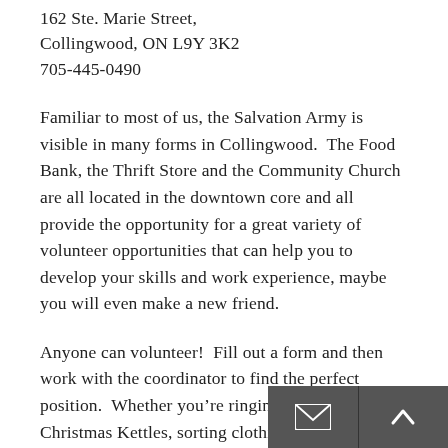162 Ste. Marie Street,
Collingwood, ON L9Y 3K2
705-445-0490
Familiar to most of us, the Salvation Army is visible in many forms in Collingwood.  The Food Bank, the Thrift Store and the Community Church are all located in the downtown core and all provide the opportunity for a great variety of volunteer opportunities that can help you to develop your skills and work experience, maybe you will even make a new friend.
Anyone can volunteer!  Fill out a form and then work with the coordinator to find the perfect position.  Whether you’re ringing the bells at Christmas Kettles, sorting clothing at the Thrift store, lending a hand at the Food Bank, assisting seniors, packing food hampers, working with emergency disaster relief or even just answering telephones, it’s